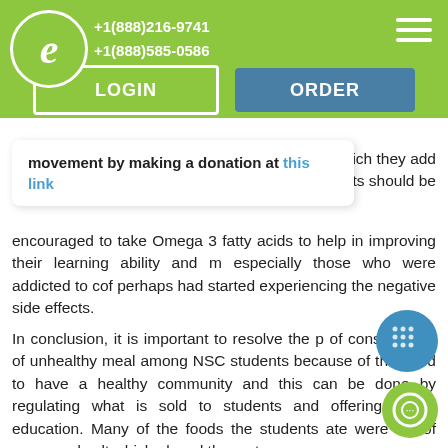+1(888)216-9741 +1(888)585-0586
movement by making a donation at this link
ks which they add dents should be encouraged to take Omega 3 fatty acids to help in improving their learning ability and m especially those who were addicted to cof perhaps had started experiencing the negative side effects.
In conclusion, it is important to resolve the p of consumption of unhealthy meal among NSC students because of the need to have a healthy community and this can be done by regulating what is sold to students and offering health education. Many of the foods the students ate were full of sugar and salt which placed them at a